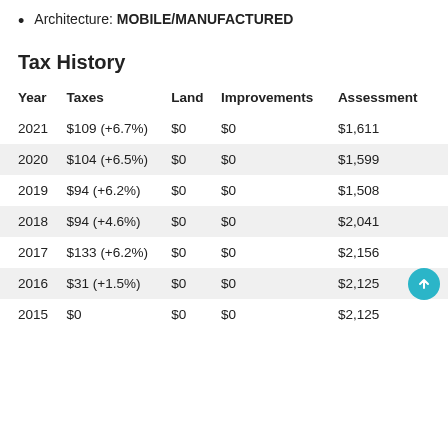Architecture: MOBILE/MANUFACTURED
Tax History
| Year | Taxes | Land | Improvements | Assessment |
| --- | --- | --- | --- | --- |
| 2021 | $109 (+6.7%) | $0 | $0 | $1,611 |
| 2020 | $104 (+6.5%) | $0 | $0 | $1,599 |
| 2019 | $94 (+6.2%) | $0 | $0 | $1,508 |
| 2018 | $94 (+4.6%) | $0 | $0 | $2,041 |
| 2017 | $133 (+6.2%) | $0 | $0 | $2,156 |
| 2016 | $31 (+1.5%) | $0 | $0 | $2,125 |
| 2015 | $0 | $0 | $0 | $2,125 |